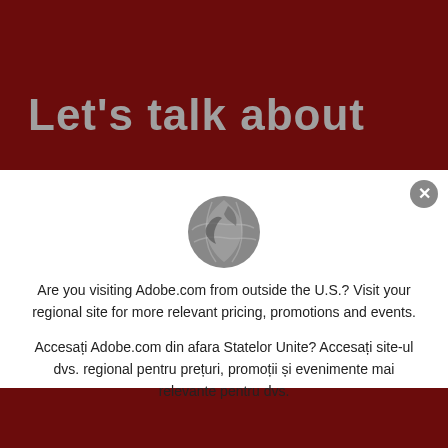Let's talk about
[Figure (illustration): Globe icon — gray silhouette of a world/globe symbol]
Are you visiting Adobe.com from outside the U.S.? Visit your regional site for more relevant pricing, promotions and events.
Accesați Adobe.com din afara Statelor Unite? Accesați site-ul dvs. regional pentru prețuri, promoții și evenimente mai relevante pentru dvs.